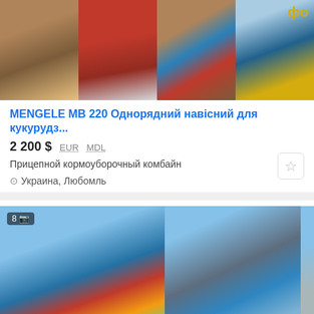[Figure (photo): Agricultural equipment photos - row of 4 images showing corn harvester parts and machinery]
MENGELE MB 220 Однорядний навісний для кукурудз...
2 200 $ EUR MDL
Прицепной кормоуборочный комбайн
Украина, Любомль
[Figure (photo): Two photos of MENGELE SH 25N forage harvester machinery in outdoor/yard setting]
MENGELE SH 25N